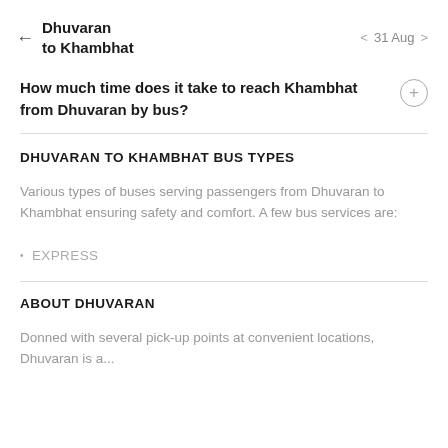Dhuvaran to Khambhat  ←  31 Aug
How much time does it take to reach Khambhat from Dhuvaran by bus?
DHUVARAN TO KHAMBHAT BUS TYPES
Various types of buses serving passengers from Dhuvaran to Khambhat ensuring safety and comfort. A few bus services are:
EXPRESS
ABOUT DHUVARAN
Donned with several pick-up points at convenient locations, Dhuvaran is a...